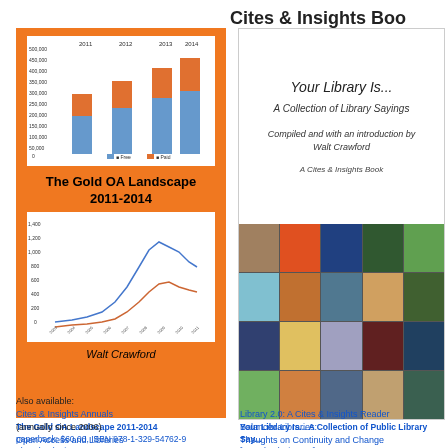Cites & Insights Boo
[Figure (illustration): Book cover for 'The Gold OA Landscape 2011-2014' by Walt Crawford, orange background with two embedded charts (stacked bar chart and line chart)]
[Figure (illustration): Book cover for 'Your Library Is... A Collection of Library Sayings', white top with title and credits, bottom with photo collage of libraries]
The Gold OA Landscape 2011-2014
paperback: $60.00, ISBN 978-1-329-54762-9
also ebook* $55.00, ISBN 978-1-329-54713-1
Your Library Is... A Collection of Public Library Say...
[paperback: $16.99]
also ebook* $8.99
Also available:
Cites & Insights Annuals
(annually since 2006)
Open Access and Libraries
Library 2.0: A Cites & Insights Reader
Balanced Libraries:
Thoughts on Continuity and Change